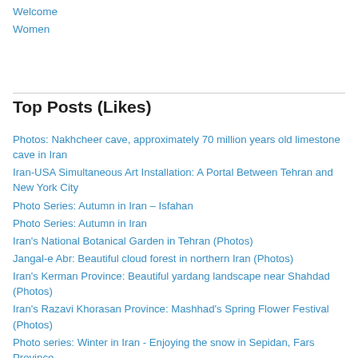Welcome
Women
Top Posts (Likes)
Photos: Nakhcheer cave, approximately 70 million years old limestone cave in Iran
Iran-USA Simultaneous Art Installation: A Portal Between Tehran and New York City
Photo Series: Autumn in Iran – Isfahan
Photo Series: Autumn in Iran
Iran's National Botanical Garden in Tehran (Photos)
Jangal-e Abr: Beautiful cloud forest in northern Iran (Photos)
Iran's Kerman Province: Beautiful yardang landscape near Shahdad (Photos)
Iran's Razavi Khorasan Province: Mashhad's Spring Flower Festival (Photos)
Photo series: Winter in Iran - Enjoying the snow in Sepidan, Fars Province